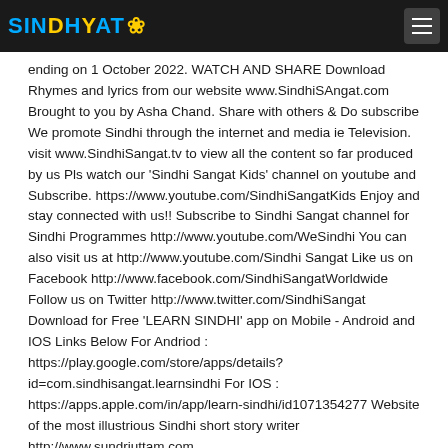SINDHYAT (logo with flower icon) — hamburger menu
ending on 1 October 2022. WATCH AND SHARE Download Rhymes and lyrics from our website www.SindhiSAngat.com Brought to you by Asha Chand. Share with others & Do subscribe We promote Sindhi through the internet and media ie Television. visit www.SindhiSangat.tv to view all the content so far produced by us Pls watch our 'Sindhi Sangat Kids' channel on youtube and Subscribe. https://www.youtube.com/SindhiSangatKids Enjoy and stay connected with us!! Subscribe to Sindhi Sangat channel for Sindhi Programmes http://www.youtube.com/WeSindhi You can also visit us at http://www.youtube.com/Sindhi Sangat Like us on Facebook http://www.facebook.com/SindhiSangatWorldwide Follow us on Twitter http://www.twitter.com/SindhiSangat Download for Free 'LEARN SINDHI' app on Mobile - Android and IOS Links Below For Andriod : https://play.google.com/store/apps/details?id=com.sindhisangat.learnsindhi For IOS : https://apps.apple.com/in/app/learn-sindhi/id1071354277 Website of the most illustrious Sindhi short story writer http://www.sundriuttam.com
30-Jul-2022